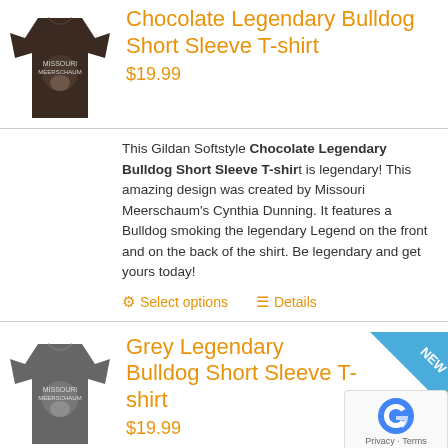[Figure (photo): Dark brown t-shirt with Missouri Meerschaum bulldog graphic]
Chocolate Legendary Bulldog Short Sleeve T-shirt
$19.99
This Gildan Softstyle Chocolate Legendary Bulldog Short Sleeve T-shirt is legendary! This amazing design was created by Missouri Meerschaum's Cynthia Dunning. It features a Bulldog smoking the legendary Legend on the front and on the back of the shirt. Be legendary and get yours today!
Select options   Details
[Figure (photo): Grey t-shirt with Missouri Meerschaum bulldog graphic]
Grey Legendary Bulldog Short Sleeve T-shirt
$19.99